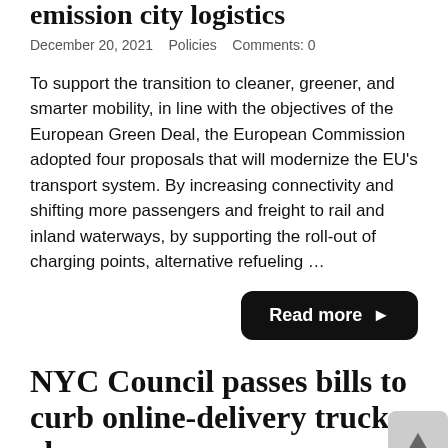emission city logistics
December 20, 2021    Policies    Comments: 0
To support the transition to cleaner, greener, and smarter mobility, in line with the objectives of the European Green Deal, the European Commission adopted four proposals that will modernize the EU's transport system. By increasing connectivity and shifting more passengers and freight to rail and inland waterways, by supporting the roll-out of charging points, alternative refueling …
NYC Council passes bills to curb online-delivery truck chaos